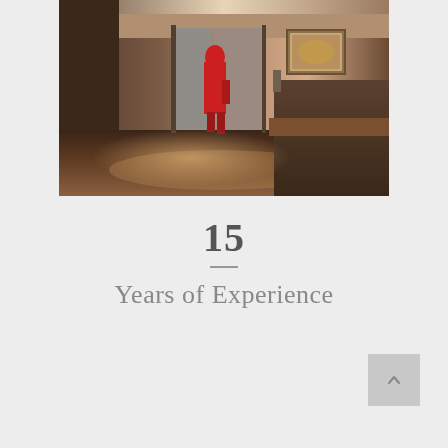[Figure (photo): Interior corridor/hallway of an upscale venue or hotel. A figure in a red outfit stands near glass doors in the background under warm lighting. Dark wood floors and a dark bench are visible on the right. A framed artwork hangs on the wall.]
15
Years of Experience